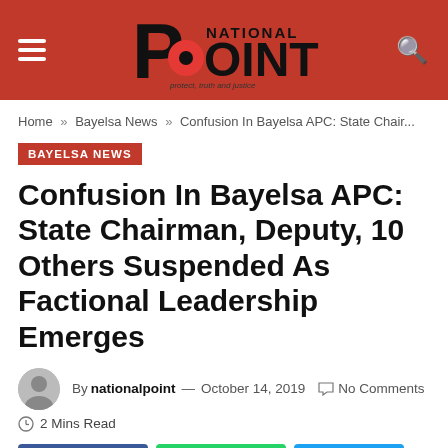NATIONAL POINT — protect, truth and justice
Home » Bayelsa News » Confusion In Bayelsa APC: State Chair...
BAYELSA NEWS
Confusion In Bayelsa APC: State Chairman, Deputy, 10 Others Suspended As Factional Leadership Emerges
By nationalpoint — October 14, 2019  No Comments
2 Mins Read